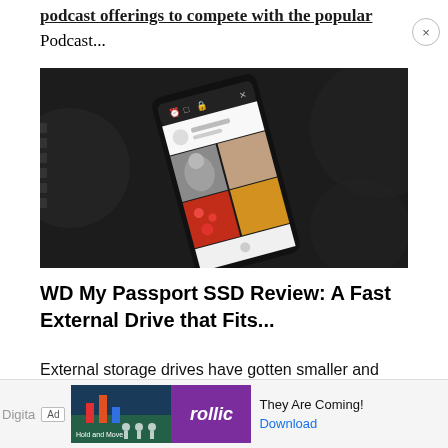podcast offerings to compete with the popular Podcast...
[Figure (photo): A smartphone held at an angle displaying an Instagram-like social media feed with multiple colorful photo thumbnails, photographed against a dark blurred gear/mechanical background in black and white.]
WD My Passport SSD Review: A Fast External Drive that Fits...
External storage drives have gotten smaller and faster since they switched to Solid State Drives. Western
[Figure (screenshot): Advertisement bar at bottom: showing 'Ad' badge, a game image, Rollic logo, text 'They Are Coming!' and a Download button.]